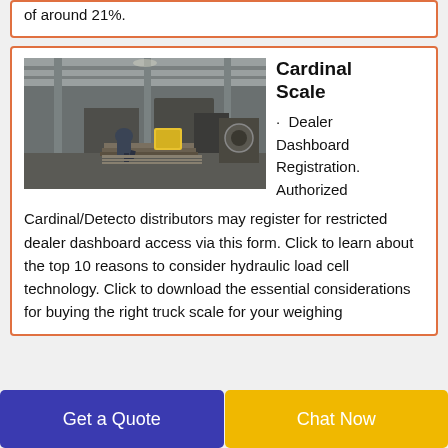of around 21%.
Cardinal Scale
[Figure (photo): Industrial factory floor with workers and heavy equipment/machinery, concrete structure with steel beams.]
· Dealer Dashboard Registration. Authorized
Cardinal/Detecto distributors may register for restricted dealer dashboard access via this form. Click to learn about the top 10 reasons to consider hydraulic load cell technology. Click to download the essential considerations for buying the right truck scale for your weighing
Get a Quote
Chat Now